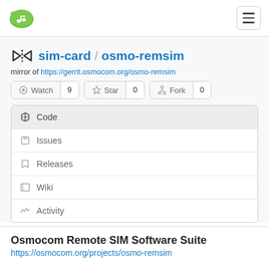Gitea logo and hamburger menu
sim-card / osmo-remsim
mirror of https://gerrit.osmocom.org/osmo-remsim
Watch 9  Star 0  Fork 0
Code
Issues
Releases
Wiki
Activity
Osmocom Remote SIM Software Suite
https://osmocom.org/projects/osmo-remsim